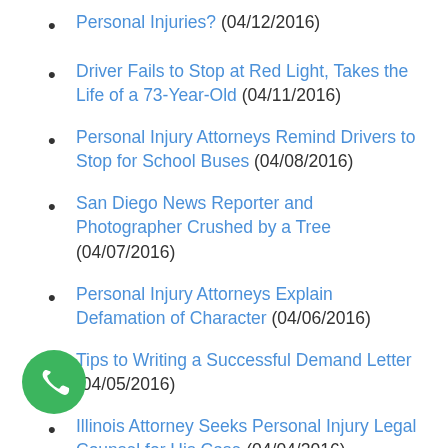Personal Injuries? (04/12/2016)
Driver Fails to Stop at Red Light, Takes the Life of a 73-Year-Old (04/11/2016)
Personal Injury Attorneys Remind Drivers to Stop for School Buses (04/08/2016)
San Diego News Reporter and Photographer Crushed by a Tree (04/07/2016)
Personal Injury Attorneys Explain Defamation of Character (04/06/2016)
Tips to Writing a Successful Demand Letter (04/05/2016)
Illinois Attorney Seeks Personal Injury Legal Counsel for His Case (04/04/2016)
Was Your Child Personally Injured on School Grounds? (04/01/2016)